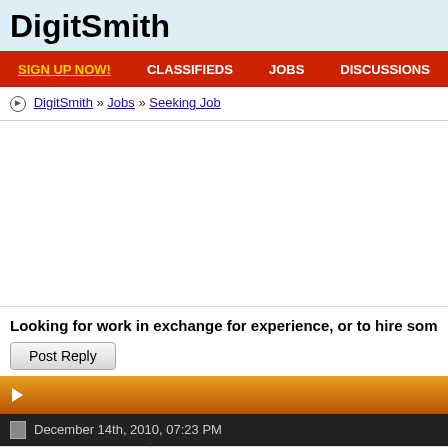DigitSmith
SIGN UP NOW! | CLASSIFIEDS | JOBS | DISCUSSIONS | TODAY'S POS
DigitSmith » Jobs » Seeking Job
[Figure (other): Advertisement area, blank white space]
Looking for work in exchange for experience, or to hire som
Post Reply
▶
December 14th, 2010, 07:23 PM
superblitz78  Looking for work in exchange for experie